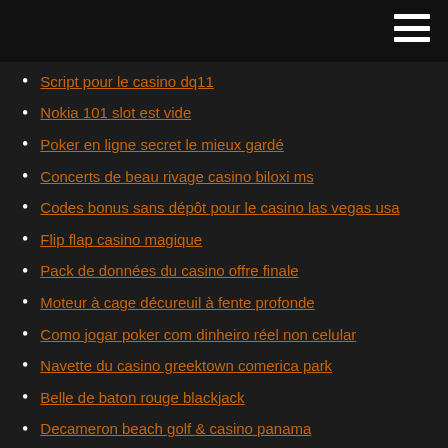Script pour le casino dq11
Nokia 101 slot est vide
Poker en ligne secret le mieux gardé
Concerts de beau rivage casino biloxi ms
Codes bonus sans dépôt pour le casino las vegas usa
Flip flap casino magique
Pack de données du casino offre finale
Moteur à cage décureuil à fente profonde
Como jogar poker com dinheiro réel non celular
Navette du casino greektown comerica park
Belle de baton rouge blackjack
Decameron beach golf & casino panama
Conditions de mise du casino en ligne
Stratégie de roulette pour gagner au casino